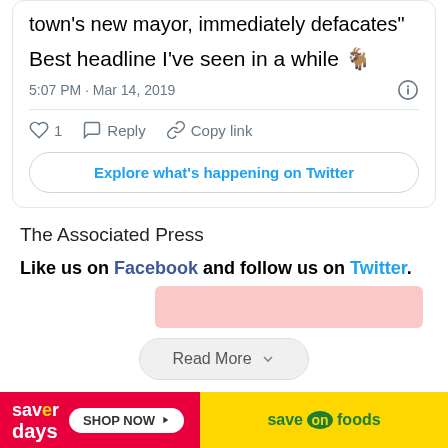town's new mayor, immediately defacates"
Best headline I've seen in a while 🐐
5:07 PM · Mar 14, 2019
1  Reply  Copy link
Explore what's happening on Twitter
The Associated Press
Like us on Facebook and follow us on Twitter.
Read More
[Figure (screenshot): Save On Foods advertisement banner with 'saver days', 'SHOP NOW' button, and save on foods logo on yellow background]